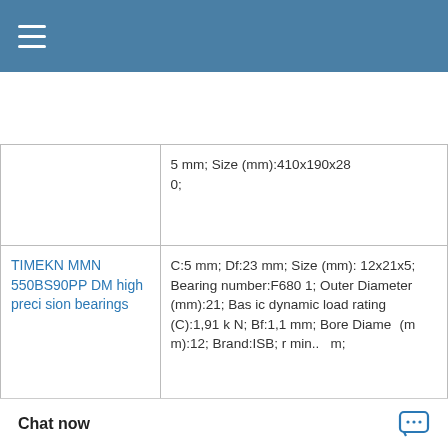| Product | Specifications |
| --- | --- |
|  | 5 mm; Size (mm):410x190x280; |
| TIMEKN MMN 550BS90PP DM high precision bearings | C:5 mm; Df:23 mm; Size (mm):12x21x5; Bearing number:F6801; Outer Diameter (mm):21; Basic dynamic load rating (C):1,91 kN; Bf:1,1 mm; Bore Diameter (mm):12; Brand:ISB; r min.:...m; |
| RHP 7000A5TRSU high precision linear bearings | Float:0.083 in; Y2 - Geometry Factor:4.15; Eng Internal Radial Clearance - Min:0.0016; Oil Lubrication - B/C/O Seal:1500 rpm; C - Dynamic Load (Basic):46400 lb; Bearing Number:22213; Shaft Size Type:Imperial; Sh:0.0015 in; Grease T Seal:2800 rpm; earance Min: |
Chat now